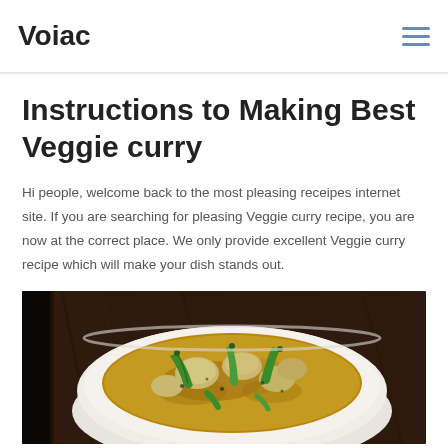Voiac
Instructions to Making Best Veggie curry
Hi people, welcome back to the most pleasing receipes internet site. If you are searching for pleasing Veggie curry recipe, you are now at the correct place. We only provide excellent Veggie curry recipe which will make your dish stands out.
[Figure (photo): A bowl of veggie curry with green chilies and vegetables on a dark wooden background]